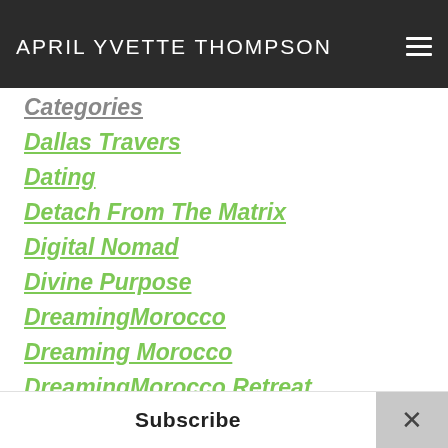APRIL YVETTE THOMPSON
Categories
Dallas Travers
Dating
Detach From The Matrix
Digital Nomad
Divine Purpose
DreamingMorocco
Dreaming Morocco
DreamingMorocco Retreat
DreamingOutLoud
DreamingOutLoud For Dreamers
DreamingOutLoud Technique
Dreams
Entrepreneur
Experience Morocco
Failed Parenting
Subscribe ×